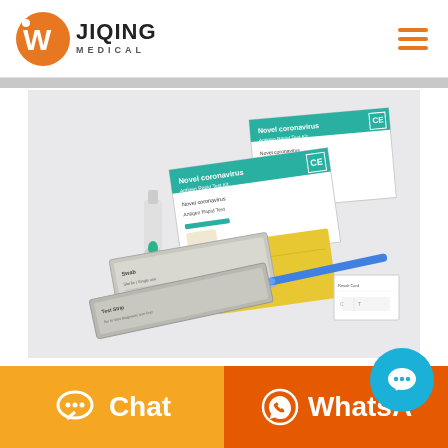[Figure (logo): JIQING MEDICAL logo with orange W icon and text]
[Figure (photo): Novel coronavirus rapid antigen test kit product photo showing boxes, test strips, swabs, and reagent bottles on gray background]
Should you swab your thro...
[Figure (other): Cyan chat bubble button overlay in bottom right]
[Figure (infographic): Orange Chat button and dark orange WhatsApp button at the bottom of the page]